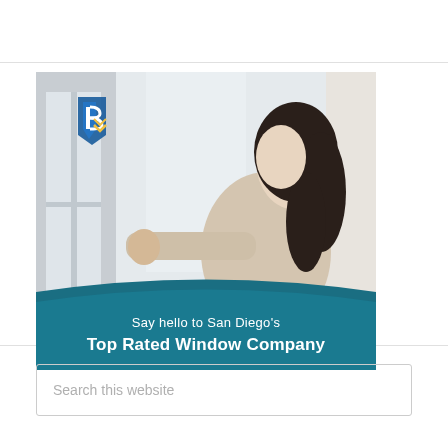[Figure (illustration): Advertisement for a San Diego window company. Shows a woman with long dark hair opening a white window, looking up with a light-filled background. A blue shield/house logo appears in the top-left corner. A teal banner at the bottom reads 'Say hello to San Diego's Top Rated Window Company'.]
Search this website